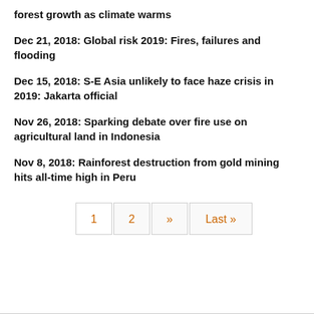forest growth as climate warms
Dec 21, 2018: Global risk 2019: Fires, failures and flooding
Dec 15, 2018: S-E Asia unlikely to face haze crisis in 2019: Jakarta official
Nov 26, 2018: Sparking debate over fire use on agricultural land in Indonesia
Nov 8, 2018: Rainforest destruction from gold mining hits all-time high in Peru
1  2  »  Last »